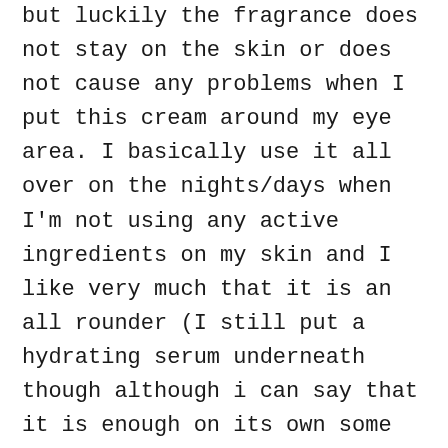but luckily the fragrance does not stay on the skin or does not cause any problems when I put this cream around my eye area. I basically use it all over on the nights/days when I'm not using any active ingredients on my skin and I like very much that it is an all rounder (I still put a hydrating serum underneath though although i can say that it is enough on its own some days.).
It makes skin beautifully hydrated and plump which is exactly the effect I'm after.